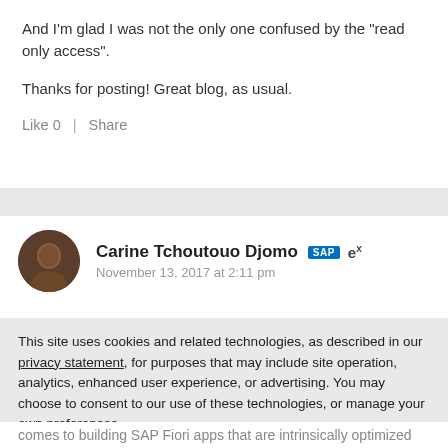And I'm glad I was not the only one confused by the "read only access".
Thanks for posting! Great blog, as usual.
Like 0  |  Share
Carine Tchoutouo Djomo
November 13, 2017 at 2:11 pm
This site uses cookies and related technologies, as described in our privacy statement, for purposes that may include site operation, analytics, enhanced user experience, or advertising. You may choose to consent to our use of these technologies, or manage your own preferences.
Accept Cookies
More Information
Privacy Policy | Powered by: TrustArc
comes to building SAP Fiori apps that are intrinsically optimized for